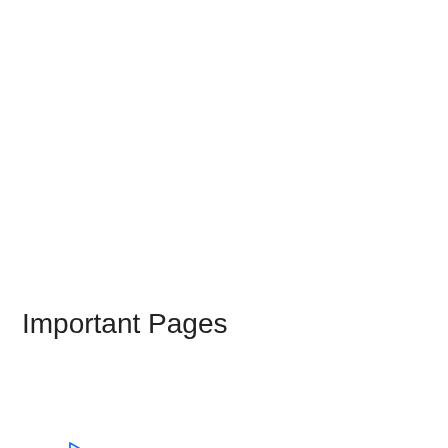Important Pages
[Figure (other): Advertisement card for Topgolf showing logo, text 'Perfect activity for everyone', 'Topgolf' link, navigation arrow icon, and a play button below the card]